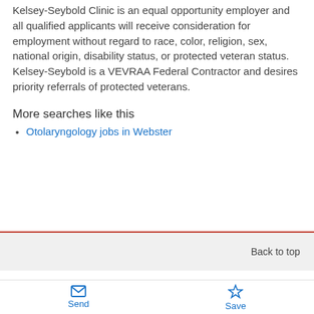Kelsey-Seybold Clinic is an equal opportunity employer and all qualified applicants will receive consideration for employment without regard to race, color, religion, sex, national origin, disability status, or protected veteran status. Kelsey-Seybold is a VEVRAA Federal Contractor and desires priority referrals of protected veterans.
More searches like this
Otolaryngology jobs in Webster
Back to top
Send  Save